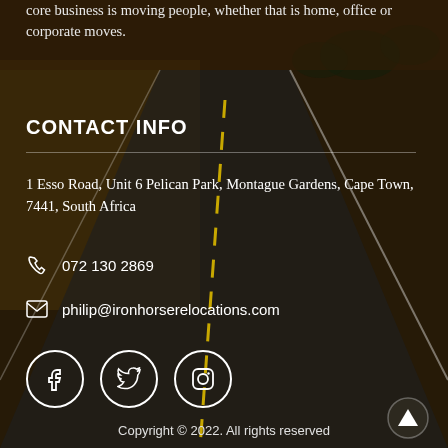core business is moving people, whether that is home, office or corporate moves.
CONTACT INFO
1 Esso Road, Unit 6 Pelican Park, Montague Gardens, Cape Town, 7441, South Africa
072 130 2869
philip@ironhorserelocations.com
[Figure (infographic): Social media icons: Facebook, Twitter, Instagram in white circles]
Copyright © 2022. All rights reserved